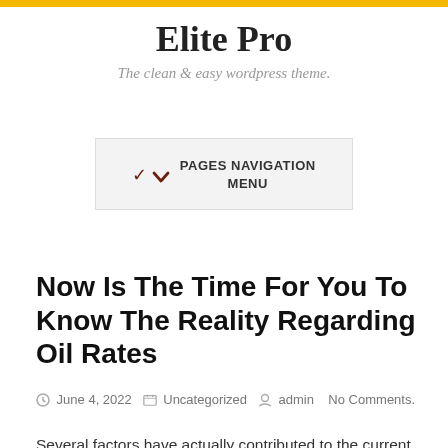Elite Pro
The clean & easy wordpress theme.
PAGES NAVIGATION MENU
Now Is The Time For You To Know The Reality Regarding Oil Rates
June 4, 2022  Uncategorized  admin  No Comments.
Several factors have actually contributed to the current rise in oil rates, consisting of: Need for power as well as fears of disturbances in supply. All natural